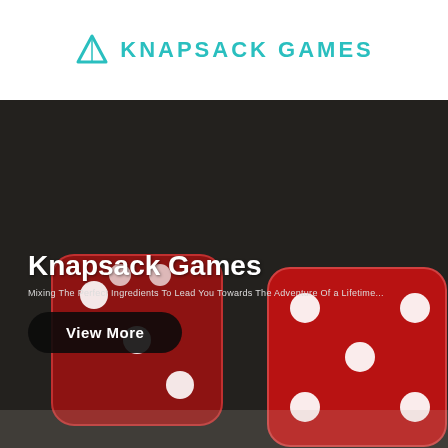[Figure (logo): Knapsack Games logo with teal triangle/mountain icon and teal uppercase text 'KNAPSACK GAMES']
[Figure (photo): Hero banner with dark overlay showing two red dice with white dots on a blurred background. Text overlay includes 'Knapsack Games' heading, subtitle 'Mixing The Perfect Ingredients To Lead You Towards The Adventure Of a Lifetime...', and a dark rounded 'View More' button.]